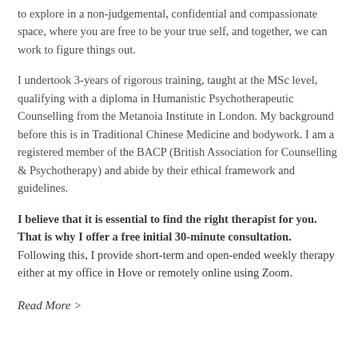to explore in a non-judgemental, confidential and compassionate space, where you are free to be your true self, and together, we can work to figure things out.
I undertook 3-years of rigorous training, taught at the MSc level, qualifying with a diploma in Humanistic Psychotherapeutic Counselling from the Metanoia Institute in London. My background before this is in Traditional Chinese Medicine and bodywork. I am a registered member of the BACP (British Association for Counselling & Psychotherapy) and abide by their ethical framework and guidelines.
I believe that it is essential to find the right therapist for you. That is why I offer a free initial 30-minute consultation. Following this, I provide short-term and open-ended weekly therapy either at my office in Hove or remotely online using Zoom.
Read More >